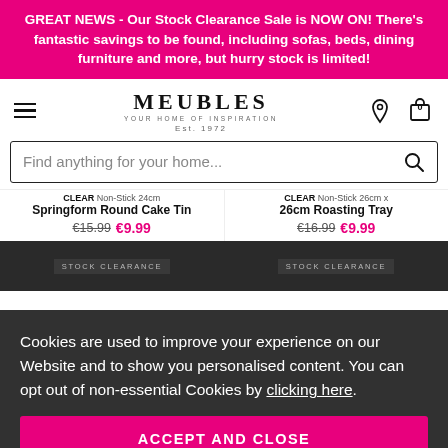GREAT NEWS - Our Stock Clearance Sale is NOW ON! There's fantastic savings to be found, including sofas, beds, dining furniture and more, but hurry stock is limited!
[Figure (logo): Meubles logo with tagline YOUR HOME OF INSPIRATION and Est. 1972]
Find anything for your home...
CLEAR Non-Stick 24cm Springform Round Cake Tin €15.99 €9.99
CLEAR Non-Stick 26cm x 26cm Roasting Tray €16.99 €9.99
Cookies are used to improve your experience on our Website and to show you personalised content. You can opt out of non-essential Cookies by clicking here.
ACCEPT AND CLOSE